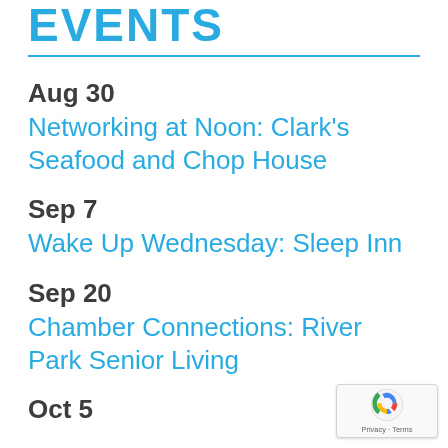EVENTS
Aug 30
Networking at Noon: Clark's Seafood and Chop House
Sep 7
Wake Up Wednesday: Sleep Inn
Sep 20
Chamber Connections: River Park Senior Living
Oct 5